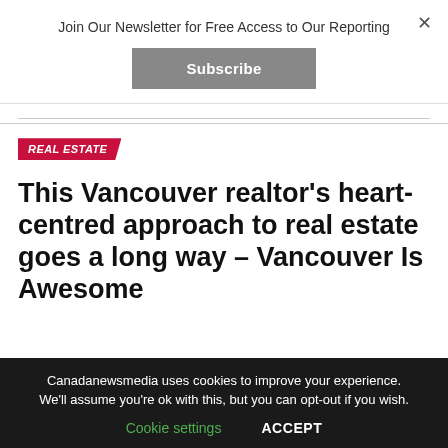Join Our Newsletter for Free Access to Our Reporting
Subscribe
×
REAL ESTATE
This Vancouver realtor's heart-centred approach to real estate goes a long way – Vancouver Is Awesome
Canadanewsmedia uses cookies to improve your experience. We'll assume you're ok with this, but you can opt-out if you wish.
Cookie settings   ACCEPT